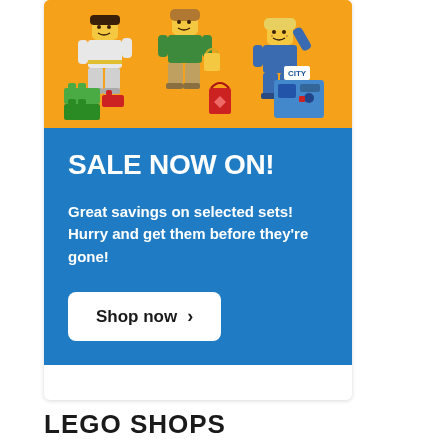[Figure (illustration): LEGO minifigures on orange background - three minifigures holding shopping bags and LEGO bricks]
SALE NOW ON!
Great savings on selected sets! Hurry and get them before they're gone!
Shop now >
LEGO SHOPS